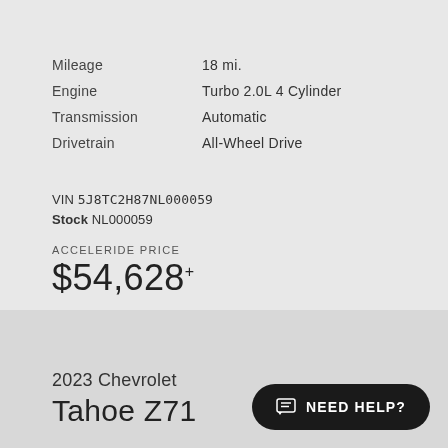| Attribute | Value |
| --- | --- |
| Mileage | 18 mi. |
| Engine | Turbo 2.0L 4 Cylinder |
| Transmission | Automatic |
| Drivetrain | All-Wheel Drive |
VIN 5J8TC2H87NL000059
Stock NL000059
ACCELERIDE PRICE
$54,628+
2023 Chevrolet
Tahoe Z71
NEED HELP?